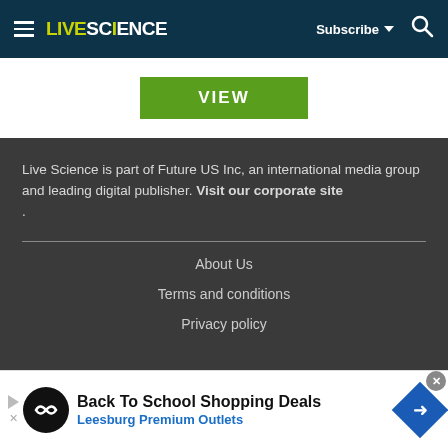LIVESCIENCE — Subscribe — Search
[Figure (screenshot): Green VIEW button on white background]
Live Science is part of Future US Inc, an international media group and leading digital publisher. Visit our corporate site .
About Us
Terms and conditions
Privacy policy
[Figure (screenshot): Advertisement banner: Back To School Shopping Deals — Leesburg Premium Outlets]